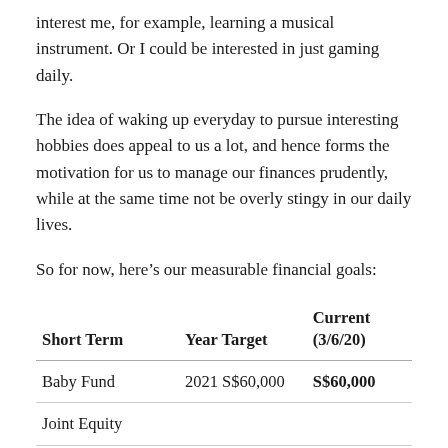interest me, for example, learning a musical instrument. Or I could be interested in just gaming daily.
The idea of waking up everyday to pursue interesting hobbies does appeal to us a lot, and hence forms the motivation for us to manage our finances prudently, while at the same time not be overly stingy in our daily lives.
So for now, here’s our measurable financial goals:
| Short Term | Year Target | Current (3/6/20) |
| --- | --- | --- |
| Baby Fund | 2021 S$60,000 | S$60,000 |
| Joint Equity |  |  |